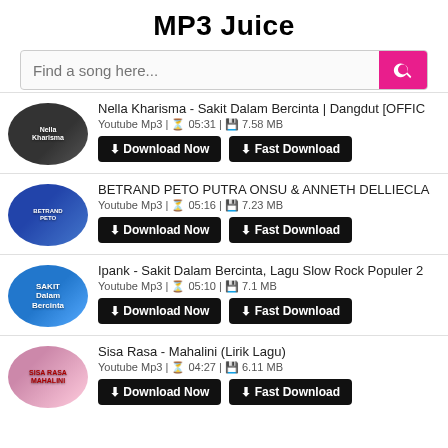MP3 Juice
Find a song here...
Nella Kharisma - Sakit Dalam Bercinta | Dangdut [OFFIC | Youtube Mp3 | 05:31 | 7.58 MB
BETRAND PETO PUTRA ONSU & ANNETH DELLIECLA | Youtube Mp3 | 05:16 | 7.23 MB
Ipank - Sakit Dalam Bercinta, Lagu Slow Rock Populer 2 | Youtube Mp3 | 05:10 | 7.1 MB
Sisa Rasa - Mahalini (Lirik Lagu) | Youtube Mp3 | 04:27 | 6.11 MB